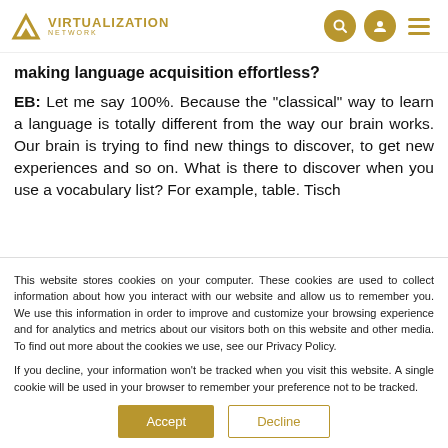VIRTUALIZATION NETWORK
making language acquisition effortless?
EB: Let me say 100%. Because the "classical" way to learn a language is totally different from the way our brain works. Our brain is trying to find new things to discover, to get new experiences and so on. What is there to discover when you use a vocabulary list? For example, table. Tisch
This website stores cookies on your computer. These cookies are used to collect information about how you interact with our website and allow us to remember you. We use this information in order to improve and customize your browsing experience and for analytics and metrics about our visitors both on this website and other media. To find out more about the cookies we use, see our Privacy Policy.
If you decline, your information won't be tracked when you visit this website. A single cookie will be used in your browser to remember your preference not to be tracked.